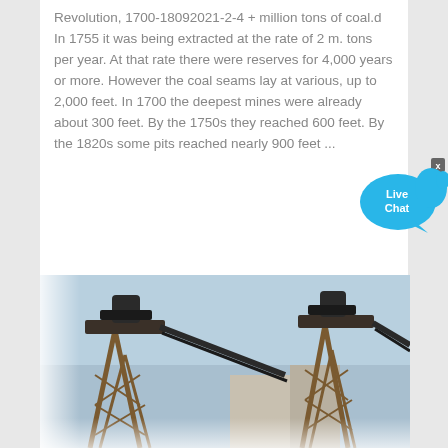Revolution, 1700-18092021-2-4 + million tons of coal.d In 1755 it was being extracted at the rate of 2 m. tons per year. At that rate there were reserves for 4,000 years or more. However the coal seams lay at various, up to 2,000 feet. In 1700 the deepest mines were already about 300 feet. By the 1750s they reached 600 feet. By the 1820s some pits reached nearly 900 feet ...
[Figure (illustration): Live Chat speech bubble icon in blue]
Get Quote
[Figure (photo): Industrial conveyor belt structures / mining towers against a blue sky, showing two large wooden/metal trestle towers with conveyor belts.]